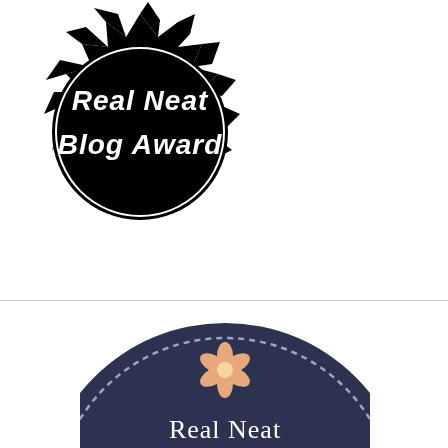[Figure (logo): Real Neat Blog Award badge: black starburst/rosette shape with a black circle in the center containing white handwritten-style text reading 'Real Neat Blog Award']
[Figure (logo): Real Neat Blog Award badge (second version): dark navy circular badge with a dashed border, a peach/salmon daisy flower at top center, text 'Real Neat' in white serif font, and a salmon/coral banner below — partially cropped at bottom]